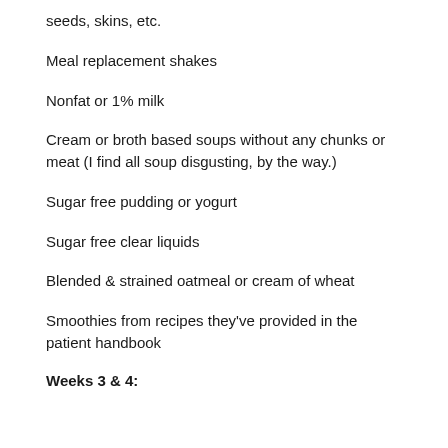seeds, skins, etc.
Meal replacement shakes
Nonfat or 1% milk
Cream or broth based soups without any chunks or meat (I find all soup disgusting, by the way.)
Sugar free pudding or yogurt
Sugar free clear liquids
Blended & strained oatmeal or cream of wheat
Smoothies from recipes they've provided in the patient handbook
Weeks 3 & 4: